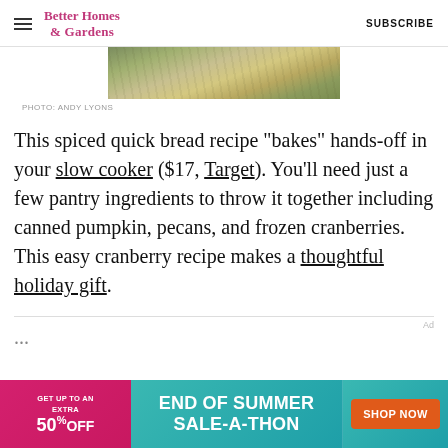Better Homes & Gardens   SUBSCRIBE
[Figure (photo): Close-up photo of a baked pumpkin cranberry bread top, textured surface, partial view]
PHOTO: ANDY LYONS
This spiced quick bread recipe "bakes" hands-off in your slow cooker ($17, Target). You'll need just a few pantry ingredients to throw it together including canned pumpkin, pecans, and frozen cranberries. This easy cranberry recipe makes a thoughtful holiday gift.
[Figure (screenshot): Advertisement banner: GET UP TO AN EXTRA 50% OFF END OF SUMMER SALE-A-THON SHOP NOW]